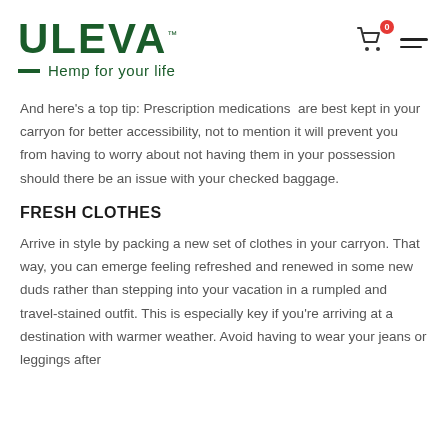[Figure (logo): ULEVA logo with tagline 'Hemp for your life' in dark green, with a green dash before the tagline]
[Figure (other): Shopping cart icon with red badge showing '0' and hamburger menu icon]
And here's a top tip: Prescription medications are best kept in your carryon for better accessibility, not to mention it will prevent you from having to worry about not having them in your possession should there be an issue with your checked baggage.
FRESH CLOTHES
Arrive in style by packing a new set of clothes in your carryon. That way, you can emerge feeling refreshed and renewed in some new duds rather than stepping into your vacation in a rumpled and travel-stained outfit. This is especially key if you're arriving at a destination with warmer weather. Avoid having to wear your jeans or leggings after